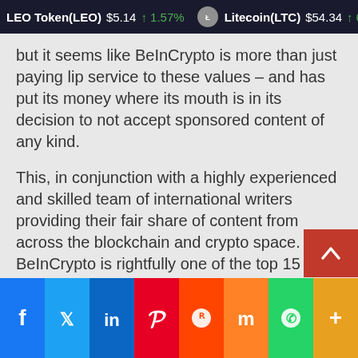LEO Token(LEO) $5.14 ↑ 1.57%   Litecoin(LTC) $54.34 ↑ 0.09%
but it seems like BeInCrypto is more than just paying lip service to these values – and has put its money where its mouth is in its decision to not accept sponsored content of any kind.
This, in conjunction with a highly experienced and skilled team of international writers providing their fair share of content from across the blockchain and crypto space. BeInCrypto is rightfully one of the top 15 cryptocurrency and blockchain news companies online today.
[Figure (infographic): Social media sharing bar with Facebook, Twitter, LinkedIn, Pinterest, Reddit, Mix, WhatsApp, and More buttons]